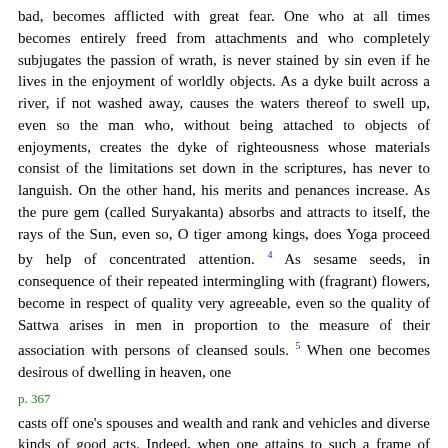bad, becomes afflicted with great fear. One who at all times becomes entirely freed from attachments and who completely subjugates the passion of wrath, is never stained by sin even if he lives in the enjoyment of worldly objects. As a dyke built across a river, if not washed away, causes the waters thereof to swell up, even so the man who, without being attached to objects of enjoyments, creates the dyke of righteousness whose materials consist of the limitations set down in the scriptures, has never to languish. On the other hand, his merits and penances increase. As the pure gem (called Suryakanta) absorbs and attracts to itself, the rays of the Sun, even so, O tiger among kings, does Yoga proceed by help of concentrated attention. 4 As sesame seeds, in consequence of their repeated intermingling with (fragrant) flowers, become in respect of quality very agreeable, even so the quality of Sattwa arises in men in proportion to the measure of their association with persons of cleansed souls. 5 When one becomes desirous of dwelling in heaven, one
p. 367
casts off one's spouses and wealth and rank and vehicles and diverse kinds of good acts. Indeed, when one attains to such a frame of mind, one's understanding is said to be dissociated from the objects of the senses. That man (on the other hand) who, with understanding attached to the objects of the senses, becomes blind to what is for his real good, is dragged (to his ruin) by his heart.